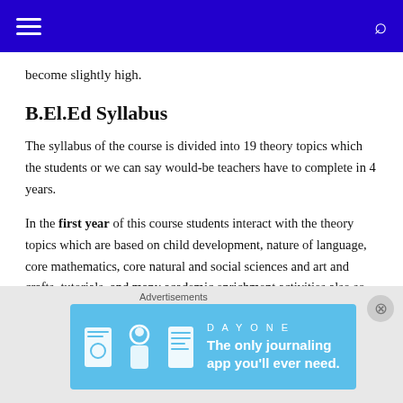Navigation bar with hamburger menu and search icon
become slightly high.
B.El.Ed Syllabus
The syllabus of the course is divided into 19 theory topics which the students or we can say would-be teachers have to complete in 4 years.
In the first year of this course students interact with the theory topics which are based on child development, nature of language, core mathematics, core natural and social sciences and art and crafts, tutorials, and many academic enrichment activities also so done.
When it comes to the second year of the course theoretical subjects like
[Figure (infographic): Advertisement banner for DAY ONE journaling app with text 'The only journaling app you'll ever need.' on a blue background with illustrated icons]